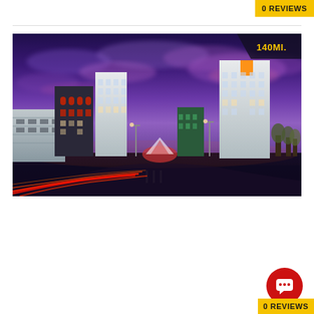0 REVIEWS
[Figure (photo): Nighttime/dusk cityscape of Reno showing casino hotels along a main boulevard with purple-pink sky, light trails from traffic on the road, and the Circus Circus sign visible.]
140MI.
RENO CIRCUS CIRCUS CASINO & HOTEL
0 REVIEWS